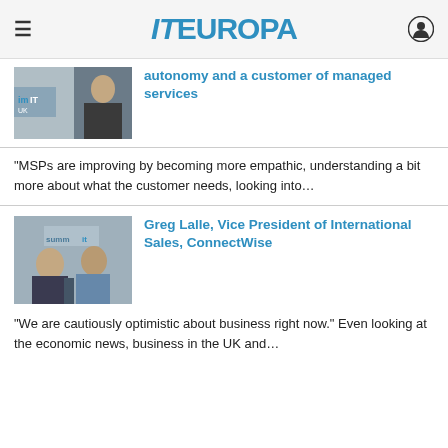IT EUROPA
autonomy and a customer of managed services
“MSPs are improving by becoming more empathic, understanding a bit more about what the customer needs, looking into…
Greg Lalle, Vice President of International Sales, ConnectWise
“We are cautiously optimistic about business right now.” Even looking at the economic news, business in the UK and…
[Figure (photo): Person speaking at imIT UK event]
[Figure (photo): Two men at a Summit IT event, Greg Lalle interview]